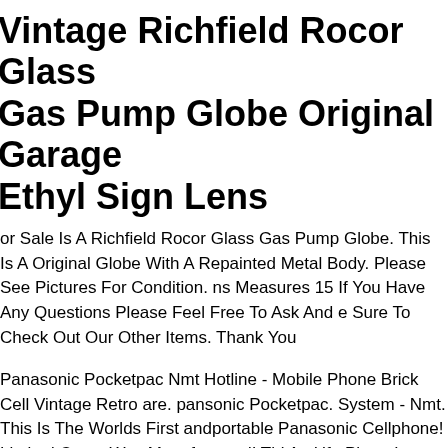Vintage Richfield Rocor Glass Gas Pump Globe Original Garage Ethyl Sign Lens
or Sale Is A Richfield Rocor Glass Gas Pump Globe. This Is A Original Globe With A Repainted Metal Body. Please See Pictures For Condition. ns Measures 15 If You Have Any Questions Please Feel Free To Ask And e Sure To Check Out Our Other Items. Thank You
Panasonic Pocketpac Nmt Hotline - Mobile Phone Brick Cell Vintage Retro are. pansonic Pocketpac. System - Nmt. This Is The Worlds First andportable Panasonic Cellphone! Limited Count Was Manufactured! This An Ufo Phone! Tested -working. Condition - Nice.
Vintage 4 Tier Metal Bakers Rack Plant Display Rack Stand Mobile